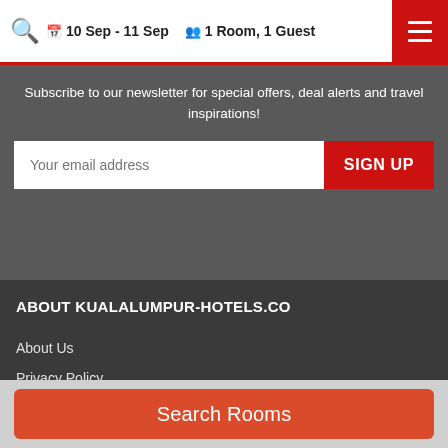10 Sep - 11 Sep   1 Room, 1 Guest
Subscribe to our newsletter for special offers, deal alerts and travel inspirations!
ABOUT KUALALUMPUR-HOTELS.CO
About Us
Privacy Policy
Terms & Conditions
Search Rooms